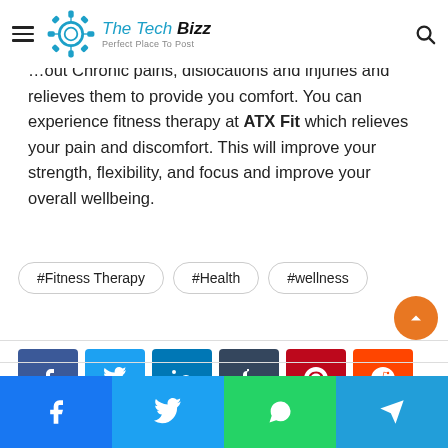The Tech Bizz — Perfect Place To Post
...out Chronic pains, dislocations and injuries and relieves them to provide you comfort. You can experience fitness therapy at ATX Fit which relieves your pain and discomfort. This will improve your strength, flexibility, and focus and improve your overall wellbeing.
#Fitness Therapy
#Health
#wellness
[Figure (infographic): Social share buttons: Facebook, Twitter, LinkedIn, Tumblr, Pinterest, Reddit, VK, Email, Print]
[Figure (infographic): Bottom social share bar: Facebook, Twitter, WhatsApp, Telegram]